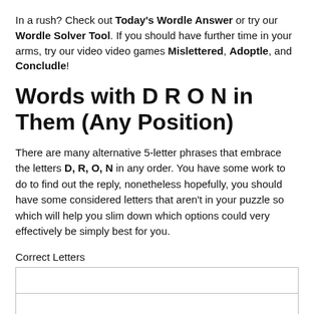In a rush? Check out Today's Wordle Answer or try our Wordle Solver Tool. If you should have further time in your arms, try our video video games Mislettered, Adoptle, and Concludle!
Words with D R O N in Them (Any Position)
There are many alternative 5-letter phrases that embrace the letters D, R, O, N in any order. You have some work to do to find out the reply, nonetheless hopefully, you should have some considered letters that aren't in your puzzle so which will help you slim down which options could very effectively be simply best for you.
Correct Letters